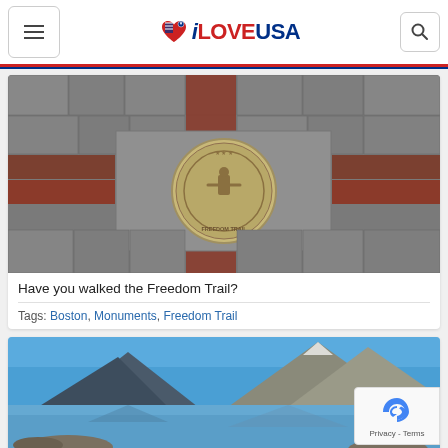iLOVEUSA
[Figure (photo): Freedom Trail medallion embedded in brick and granite pavement in Boston]
Have you walked the Freedom Trail?
Tags: Boston, Monuments, Freedom Trail
[Figure (photo): Mountain lake landscape with rocky peaks and clear blue sky reflecting in water]